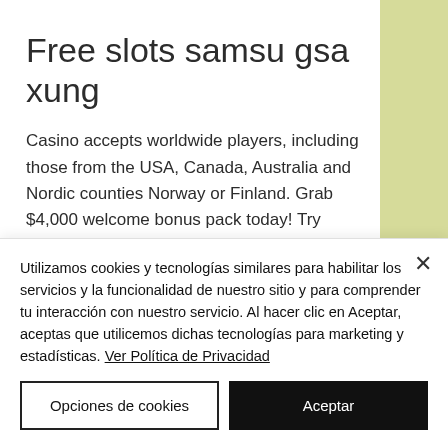Free slots samsu gsa xung
Casino accepts worldwide players, including those from the USA, Canada, Australia and Nordic counties Norway or Finland. Grab $4,000 welcome bonus pack today! Try Yabby casino with $70 no deposit bonus or 111 free spins, free slots samsu gsa xung. Casino accepts Bitcoin, Ethereum or Litecoin
Utilizamos cookies y tecnologías similares para habilitar los servicios y la funcionalidad de nuestro sitio y para comprender tu interacción con nuestro servicio. Al hacer clic en Aceptar, aceptas que utilicemos dichas tecnologías para marketing y estadísticas. Ver Política de Privacidad
Opciones de cookies
Aceptar